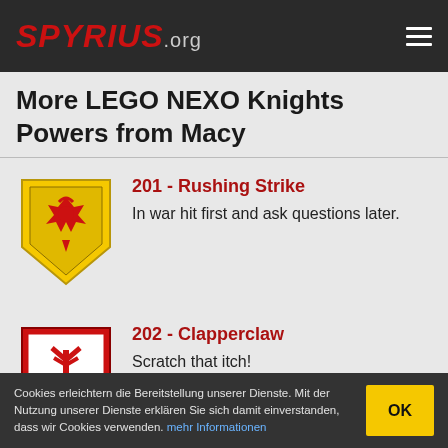SPYRIUS.org
More LEGO NEXO Knights Powers from Macy
[Figure (illustration): Yellow shield with red dragon/fire emblem - LEGO NEXO Knights power shield 201]
201 - Rushing Strike
In war hit first and ask questions later.
[Figure (illustration): Red and white shield with red claw/hand emblem - LEGO NEXO Knights power shield 202]
202 - Clapperclaw
Scratch that itch!
[Figure (illustration): Yellow and black shield with mace emblem - LEGO NEXO Knights power shield 203]
203 - Mace Rain
Pound enemies with a shower of giant maces.
Cookies erleichtern die Bereitstellung unserer Dienste. Mit der Nutzung unserer Dienste erklären Sie sich damit einverstanden, dass wir Cookies verwenden. mehr Informationen